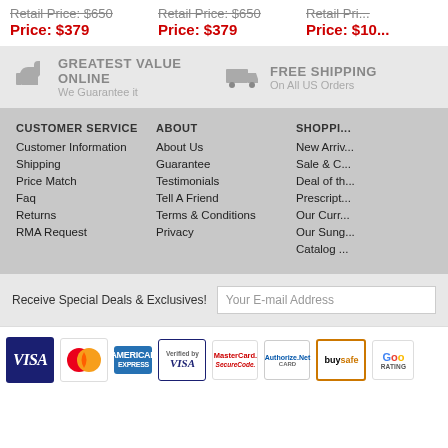Retail Price: $650 | Price: $379 | Retail Price: $650 | Price: $379 | Retail Price: $10x | Price: $10x
GREATEST VALUE ONLINE - We Guarantee it | FREE SHIPPING - On All US Orders
CUSTOMER SERVICE
Customer Information
Shipping
Price Match
Faq
Returns
RMA Request
ABOUT
About Us
Guarantee
Testimonials
Tell A Friend
Terms & Conditions
Privacy
SHOPPING
New Arrivals
Sale & Clearance
Deal of the Day
Prescription
Our Current
Our Sunglasses
Catalog
Receive Special Deals & Exclusives!
Your E-mail Address
[Figure (other): Payment badges: VISA, MasterCard, American Express, Verified by VISA, MasterCard SecureCode, Authorize.Net, BuySafe, Google Rating]